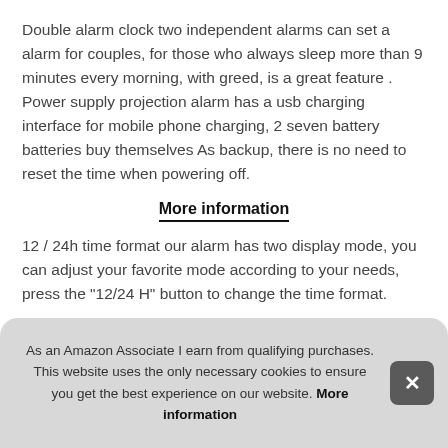Double alarm clock two independent alarms can set a alarm for couples, for those who always sleep more than 9 minutes every morning, with greed, is a great feature . Power supply projection alarm has a usb charging interface for mobile phone charging, 2 seven battery batteries buy themselves As backup, there is no need to reset the time when powering off.
More information
12 / 24h time format our alarm has two display mode, you can adjust your favorite mode according to your needs, press the "12/24 H" button to change the time format.
Big proj ope can morning
As an Amazon Associate I earn from qualifying purchases. This website uses the only necessary cookies to ensure you get the best experience on our website. More information